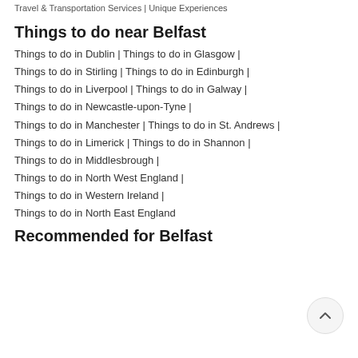Travel & Transportation Services | Unique Experiences
Things to do near Belfast
Things to do in Dublin | Things to do in Glasgow |
Things to do in Stirling | Things to do in Edinburgh |
Things to do in Liverpool | Things to do in Galway |
Things to do in Newcastle-upon-Tyne |
Things to do in Manchester | Things to do in St. Andrews |
Things to do in Limerick | Things to do in Shannon |
Things to do in Middlesbrough |
Things to do in North West England |
Things to do in Western Ireland |
Things to do in North East England
Recommended for Belfast